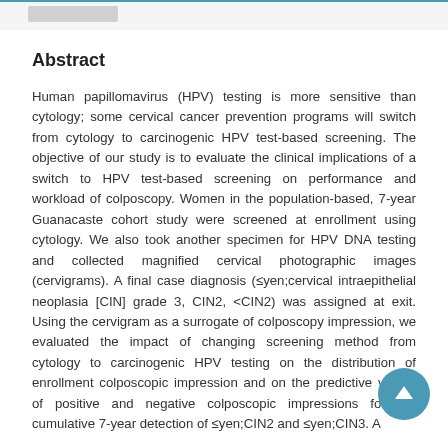Abstract
Human papillomavirus (HPV) testing is more sensitive than cytology; some cervical cancer prevention programs will switch from cytology to carcinogenic HPV test-based screening. The objective of our study is to evaluate the clinical implications of a switch to HPV test-based screening on performance and workload of colposcopy. Women in the population-based, 7-year Guanacaste cohort study were screened at enrollment using cytology. We also took another specimen for HPV DNA testing and collected magnified cervical photographic images (cervigrams). A final case diagnosis (≤yen;cervical intraepithelial neoplasia [CIN] grade 3, CIN2, <CIN2) was assigned at exit. Using the cervigram as a surrogate of colposcopy impression, we evaluated the impact of changing screening method from cytology to carcinogenic HPV testing on the distribution of enrollment colposcopic impression and on the predictive values of positive and negative colposcopic impressions for the cumulative 7-year detection of ≤yen;CIN2 and ≤yen;CIN3. A